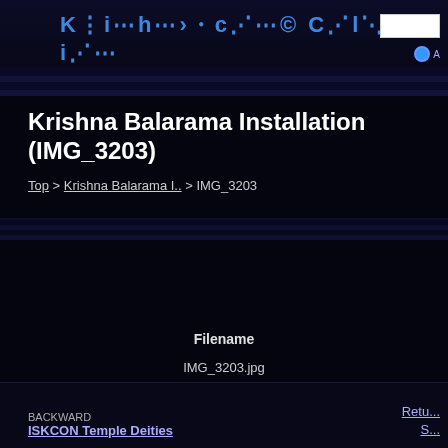Krishna.com Collection
Krishna Balarama Installation (IMG_3203)
Top > Krishna Balarama I.. > IMG_3203
Filename
IMG_3203.jpg
BACKWARD ISKCON Temple Deities | Retu... S...